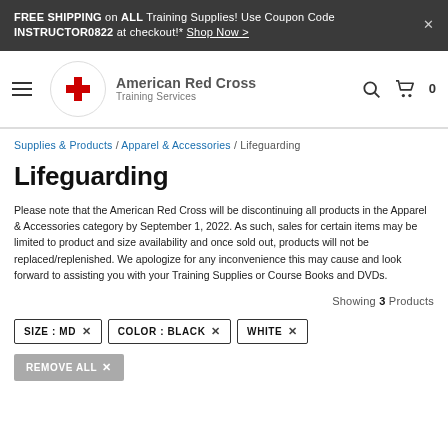FREE SHIPPING on ALL Training Supplies! Use Coupon Code INSTRUCTOR0822 at checkout!* Shop Now >
[Figure (logo): American Red Cross Training Services logo with red cross emblem and navigation bar]
Supplies & Products / Apparel & Accessories / Lifeguarding
Lifeguarding
Please note that the American Red Cross will be discontinuing all products in the Apparel & Accessories category by September 1, 2022. As such, sales for certain items may be limited to product and size availability and once sold out, products will not be replaced/replenished. We apologize for any inconvenience this may cause and look forward to assisting you with your Training Supplies or Course Books and DVDs.
Showing 3 Products
SIZE : MD × COLOR : BLACK × WHITE ×
REMOVE ALL ×